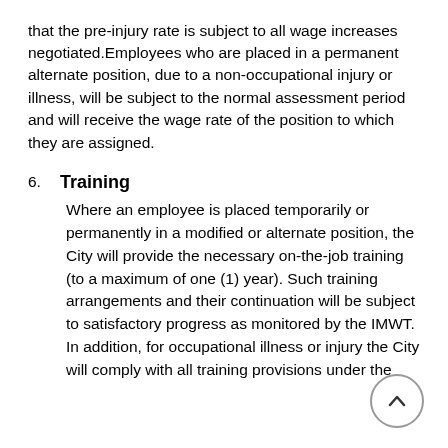that the pre-injury rate is subject to all wage increases negotiated. Employees who are placed in a permanent alternate position, due to a non-occupational injury or illness, will be subject to the normal assessment period and will receive the wage rate of the position to which they are assigned.
6. Training
Where an employee is placed temporarily or permanently in a modified or alternate position, the City will provide the necessary on-the-job training (to a maximum of one (1) year). Such training arrangements and their continuation will be subject to satisfactory progress as monitored by the IMWT. In addition, for occupational illness or injury the City will comply with all training provisions under the